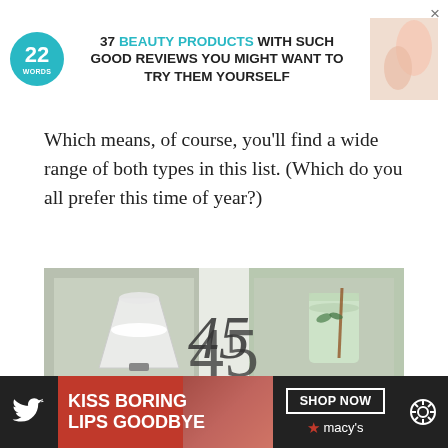[Figure (infographic): 22 Words logo and advertisement banner: '37 BEAUTY PRODUCTS WITH SUCH GOOD REVIEWS YOU MIGHT WANT TO TRY THEM YOURSELF' with product image and close X button]
Which means, of course, you'll find a wide range of both types in this list. (Which do you all prefer this time of year?)
[Figure (photo): 45 Green Cocktails image collage showing various green cocktails in glasses with decorative text overlay reading '45 GREEN COCKTAILS']
This website uses cookies to improve your experience. We'll assume you're ok with this, but you can opt-out if you wish.
[Figure (infographic): Bottom advertisement bar: Twitter icon, red section with 'KISS BORING LIPS GOODBYE', CLOSE button, SHOP NOW button, Macy's star logo, and settings icon]